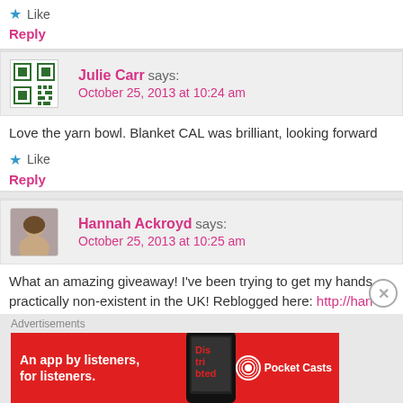Like
Reply
Julie Carr says:
October 25, 2013 at 10:24 am
Love the yarn bowl. Blanket CAL was brilliant, looking forward
Like
Reply
Hannah Ackroyd says:
October 25, 2013 at 10:25 am
What an amazing giveaway! I've been trying to get my hands practically non-existent in the UK! Reblogged here: http://han
Advertisements
[Figure (other): Pocket Casts advertisement banner - An app by listeners, for listeners.]